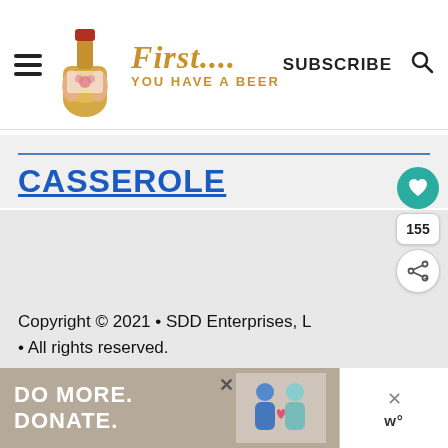First... You Have a Beer — SUBSCRIBE
CASSEROLE
Copyright © 2021 • SDD Enterprises, L • All rights reserved.
[Figure (infographic): Ad banner: DO MORE. DONATE. with illustration of two people and a close button]
[Figure (infographic): Floating action buttons: heart (teal), count 155, share icon]